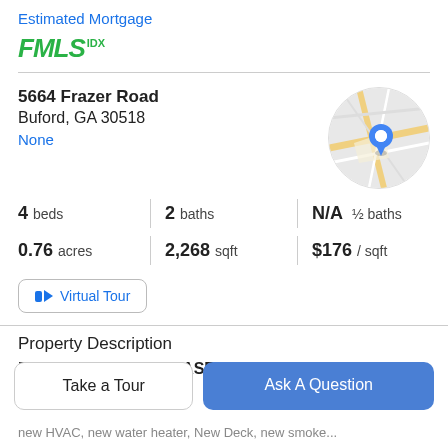Estimated Mortgage
[Figure (logo): FMLS IDX logo in green]
5664 Frazer Road
Buford, GA 30518
None
[Figure (map): Circular map thumbnail showing location with blue pin marker]
4 beds
2 baths
N/A ½ baths
0.76 acres
2,268 sqft
$176 / sqft
Virtual Tour
Property Description
RANCH WITH FULL BASEMENT !!! NO HOA !!!This
Take a Tour
Ask A Question
new HVAC, new water heater, New Deck, new smoke...